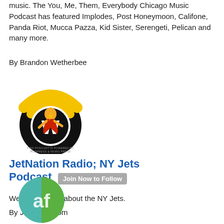music. The You, Me, Them, Everybody Chicago Music Podcast has featured Implodes, Post Honeymoon, Califone, Panda Riot, Mucca Pazza, Kid Sister, Serengeti, Pelican and many more.
By Brandon Wetherbee
[Figure (logo): JetNation Radio podcast logo – yellow wifi arc over a cartoon superhero character with a WordPress W, text 'THIS PODCAST IS POWERED BY PODPRESS & WORD PRESS']
JetNation Radio; NY Jets Podcast
Weekly podcast about the NY Jets.
By JetNation.com
[Figure (logo): Round logo with teal/green circle split, showing 'af' letters in stylized font]